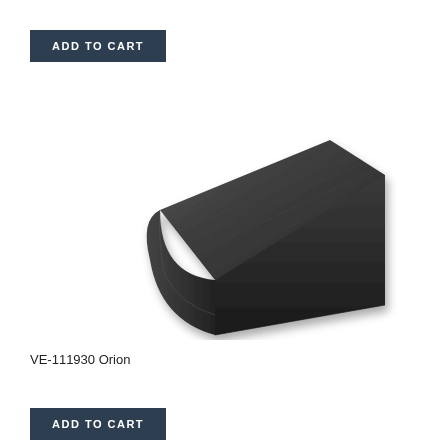ADD TO CART
[Figure (photo): A stair nose flooring trim piece in dark gray/charcoal color with wood grain texture, shown in perspective view. The piece has an L-shaped profile with a curved front edge.]
VE-111930 Orion
ADD TO CART